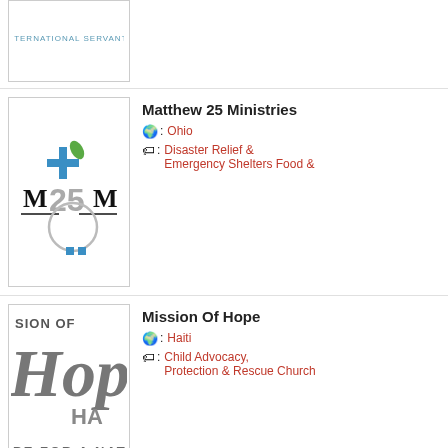[Figure (logo): International Servants logo - partial top of page]
[Figure (logo): Matthew 25 Ministries logo - M25M with blue cross]
Matthew 25 Ministries
Ohio
Disaster Relief & Emergency Shelters Food &
[Figure (logo): Mission Of Hope Haiti logo - partial, shows Hope For A Nation text]
Mission Of Hope
Haiti
Child Advocacy, Protection & Rescue Church